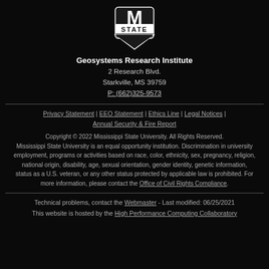[Figure (logo): Mississippi State University logo — white M with STATE banner on black background]
Geosystems Research Institute
2 Research Blvd.
Starkville, MS 39759
P: (662)325-9573
Privacy Statement | EEO Statement | Ethics Line | Legal Notices | Annual Security & Fire Report
Copyright © 2022 Mississippi State University. All Rights Reserved. Mississippi State University is an equal opportunity institution. Discrimination in university employment, programs or activities based on race, color, ethnicity, sex, pregnancy, religion, national origin, disability, age, sexual orientation, gender identity, genetic information, status as a U.S. veteran, or any other status protected by applicable law is prohibited. For more information, please contact the Office of Civil Rights Compliance.
Technical problems, contact the Webmaster - Last modified: 06/25/2021
This website is hosted by the High Performance Computing Collaboratory